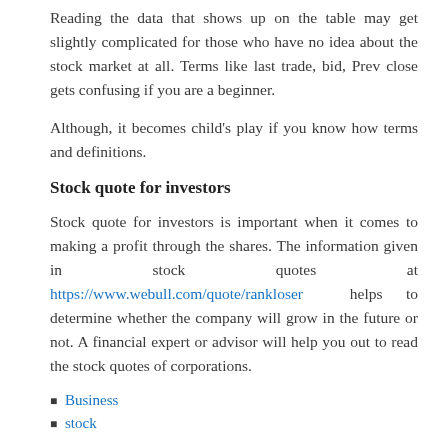Reading the data that shows up on the table may get slightly complicated for those who have no idea about the stock market at all. Terms like last trade, bid, Prev close gets confusing if you are a beginner.
Although, it becomes child's play if you know how terms and definitions.
Stock quote for investors
Stock quote for investors is important when it comes to making a profit through the shares. The information given in stock quotes at https://www.webull.com/quote/rankloser helps to determine whether the company will grow in the future or not. A financial expert or advisor will help you out to read the stock quotes of corporations.
Business
stock